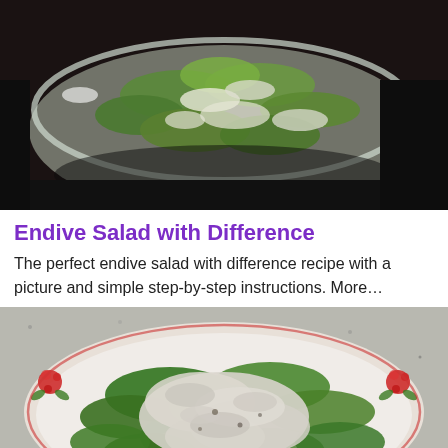[Figure (photo): A glass bowl filled with endive salad tossed in a creamy white dressing, photographed from above on a dark countertop.]
Endive Salad with Difference
The perfect endive salad with difference recipe with a picture and simple step-by-step instructions. More…
[Figure (photo): A decorative plate with a floral red border filled with fresh green endive leaves topped with a generous amount of creamy dressing, on a granite countertop.]